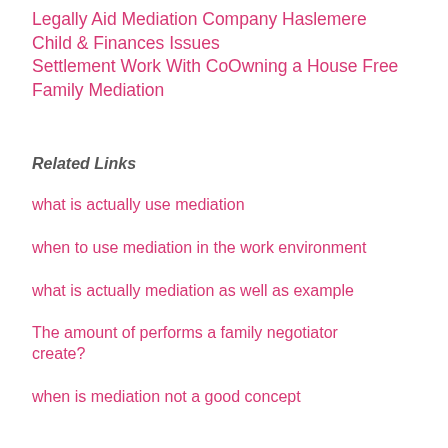Legally Aid Mediation Company Haslemere Child & Finances Issues Settlement Work With CoOwning a House Free Family Mediation
Related Links
what is actually use mediation
when to use mediation in the work environment
what is actually mediation as well as example
The amount of performs a family negotiator create?
when is mediation not a good concept